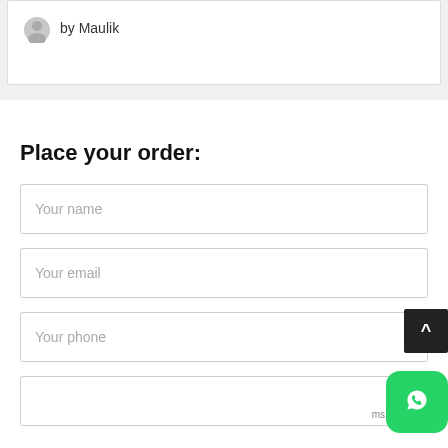by Maulik
Place your order:
Your name
Your email
Your phone